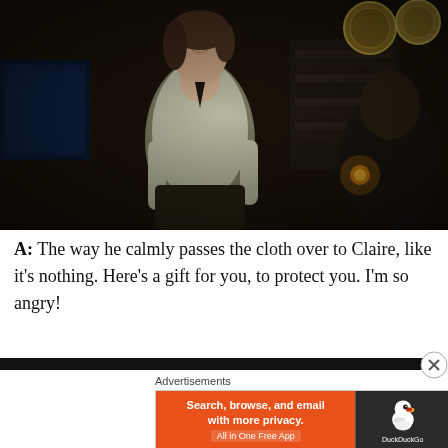[Figure (screenshot): Dark scene from a TV show or film: a woman with dark hair wearing a loose light-colored shirt stands in a dimly lit room with wooden shelves and decorative plates. Another person is seen from behind on the right side.]
A: The way he calmly passes the cloth over to Claire, like it's nothing. Here's a gift for you, to protect you. I'm so angry!
[Figure (screenshot): Advertisement banner: DuckDuckGo ad with orange left section reading 'Search, browse, and email with more privacy. All in One Free App' and dark right section with DuckDuckGo duck logo and brand name.]